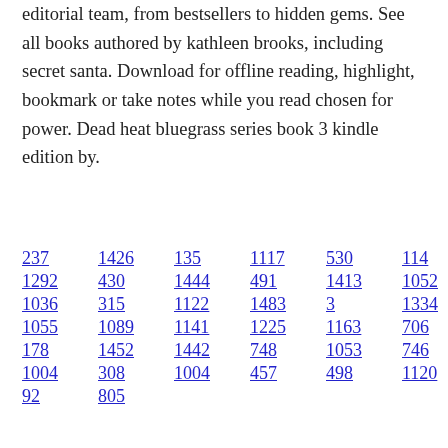editorial team, from bestsellers to hidden gems. See all books authored by kathleen brooks, including secret santa. Download for offline reading, highlight, bookmark or take notes while you read chosen for power. Dead heat bluegrass series book 3 kindle edition by.
237  1426  135  1117  530  114
1292  430  1444  491  1413  1052
1036  315  1122  1483  3  1334
1055  1089  1141  1225  1163  706
178  1452  1442  748  1053  746
1004  308  1004  457  498  1120
92  805